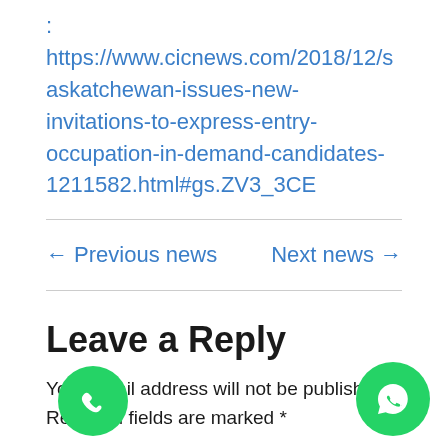: https://www.cicnews.com/2018/12/saskatchewan-issues-new-invitations-to-express-entry-occupation-in-demand-candidates-1211582.html#gs.ZV3_3CE
← Previous news    Next news →
Leave a Reply
Your email address will not be published. Required fields are marked *
Comment *